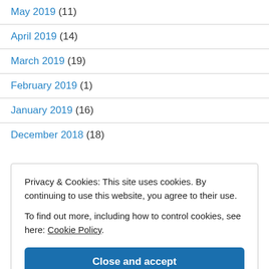May 2019 (11)
April 2019 (14)
March 2019 (19)
February 2019 (1)
January 2019 (16)
December 2018 (18)
Privacy & Cookies: This site uses cookies. By continuing to use this website, you agree to their use.
To find out more, including how to control cookies, see here: Cookie Policy.
Close and accept